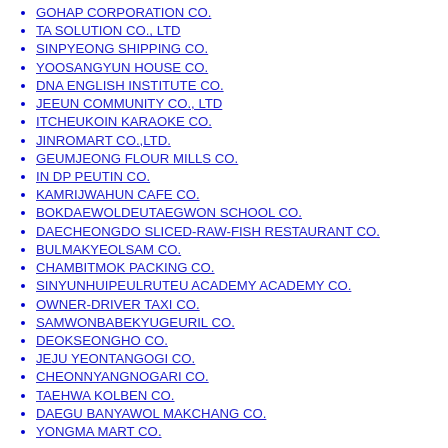GOHAP CORPORATION CO.
TA SOLUTION CO., LTD
SINPYEONG SHIPPING CO.
YOOSANGYUN HOUSE CO.
DNA ENGLISH INSTITUTE CO.
JEEUN COMMUNITY CO., LTD
ITCHEUKOIN KARAOKE CO.
JINROMART CO.,LTD.
GEUMJEONG FLOUR MILLS CO.
IN DP PEUTIN CO.
KAMRIJWAHUN CAFE CO.
BOKDAEWOLDEUTAEGWON SCHOOL CO.
DAECHEONGDO SLICED-RAW-FISH RESTAURANT CO.
BULMAKYEOLSAM CO.
CHAMBITMOK PACKING CO.
SINYUNHUIPEULRUTEU ACADEMY ACADEMY CO.
OWNER-DRIVER TAXI CO.
SAMWONBABEKYUGEURIL CO.
DEOKSEONGHO CO.
JEJU YEONTANGOGI CO.
CHEONNYANGNOGARI CO.
TAEHWA KOLBEN CO.
DAEGU BANYAWOL MAKCHANG CO.
YONGMA MART CO.